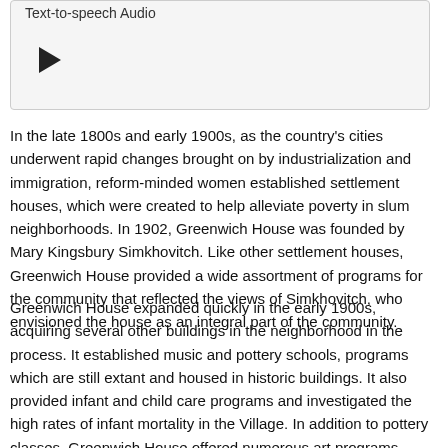Text-to-speech Audio
[Figure (other): Audio player widget with a play button triangle]
In the late 1800s and early 1900s, as the country's cities underwent rapid changes brought on by industrialization and immigration, reform-minded women established settlement houses, which were created to help alleviate poverty in slum neighborhoods. In 1902, Greenwich House was founded by Mary Kingsbury Simkhovitch. Like other settlement houses, Greenwich House provided a wide assortment of programs for the community that reflected the views of Simkhovitch, who envisioned the house as an integral part of the community.
Greenwich House expanded quickly in the early 1900s, acquiring several other buildings in the neighborhood in the process. It established music and pottery schools, programs which are still extant and housed in historic buildings. It also provided infant and child care programs and investigated the high rates of infant mortality in the Village. In addition to pottery classes, Greenwich House offered numerous art programs, which was likely due to the influence of Gertrude Payne Whitney, who was a member of the board and later founded the Whitney Museum. Whitney was also